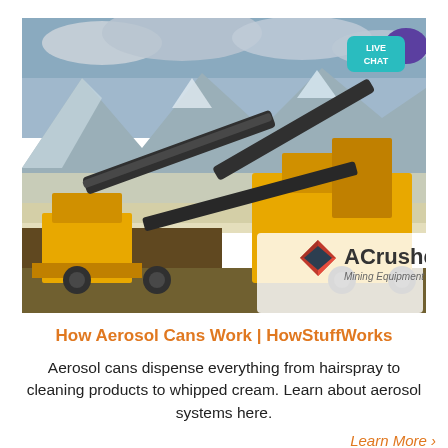[Figure (photo): Mining equipment (yellow crushers/conveyors) in a snowy mountain landscape, with ACrusher Mining Equipment logo in the bottom right. A teal 'LIVE CHAT' badge with a purple speech bubble icon in the top right corner.]
How Aerosol Cans Work | HowStuffWorks
Aerosol cans dispense everything from hairspray to cleaning products to whipped cream. Learn about aerosol systems here.
Learn More ›